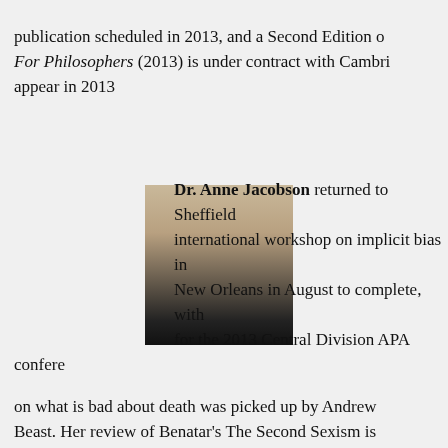publication scheduled in 2013, and a Second Edition o... For Philosophers (2013) is under contract with Cambri... appear in 2013
[Figure (photo): Headshot photo of Dr. Anne Jacobson, a woman with short brown hair wearing a dark top.]
Dr. Anne Jacobson returned to Sheffield... international workshop on implicit bias in... New Orleans in August to complete, with... for the 2013 Central Division APA confere... on what is bad about death was picked up by Andrew... Beast. Her review of Benatar's The Second Sexism is... Philosopher's Magazine, and her interview by 3 am Ma... New Yorker") will appear in the Fall. She is co-editing t... the Springer Handbook on Neuroethics, for which she... moral responsibility and implicit attitudes. She is also... social nature of implicit bias for a two-volume collect... by Oxford University Press. In summer 2013, she will